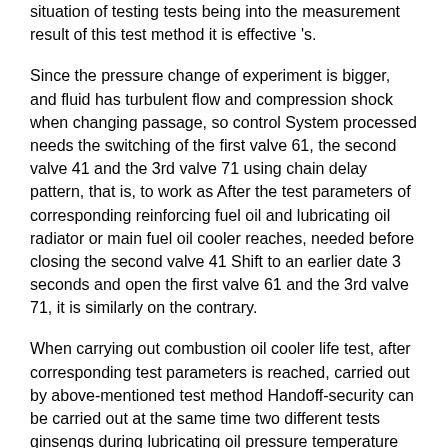situation of testing tests being into the measurement result of this test method it is effective 's.
Since the pressure change of experiment is bigger, and fluid has turbulent flow and compression shock when changing passage, so control System processed needs the switching of the first valve 61, the second valve 41 and the 3rd valve 71 using chain delay pattern, that is, to work as After the test parameters of corresponding reinforcing fuel oil and lubricating oil radiator or main fuel oil cooler reaches, needed before closing the second valve 41 Shift to an earlier date 3 seconds and open the first valve 61 and the 3rd valve 71, it is similarly on the contrary.
When carrying out combustion oil cooler life test, after corresponding test parameters is reached, carried out by above-mentioned test method Handoff-security can be carried out at the same time two different tests ginsengs during lubricating oil pressure temperature flow one is fired from low to high Several combustion oil cooler experiments.
It is last it is to be noted that®The above embodiments are merely illustrative of the technical solutions of the present